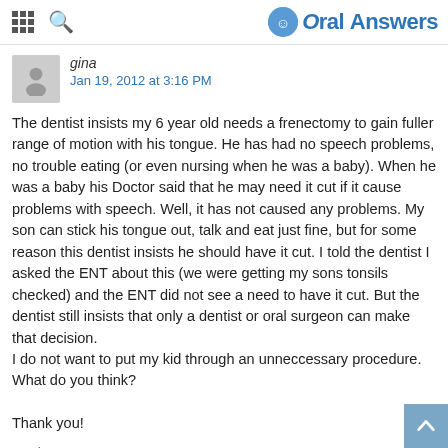Oral Answers
gina
Jan 19, 2012 at 3:16 PM
The dentist insists my 6 year old needs a frenectomy to gain fuller range of motion with his tongue. He has had no speech problems, no trouble eating (or even nursing when he was a baby). When he was a baby his Doctor said that he may need it cut if it cause problems with speech. Well, it has not caused any problems. My son can stick his tongue out, talk and eat just fine, but for some reason this dentist insists he should have it cut. I told the dentist I asked the ENT about this (we were getting my sons tonsils checked) and the ENT did not see a need to have it cut. But the dentist still insists that only a dentist or oral surgeon can make that decision.
I do not want to put my kid through an unneccessary procedure.
What do you think?

Thank you!
Reply